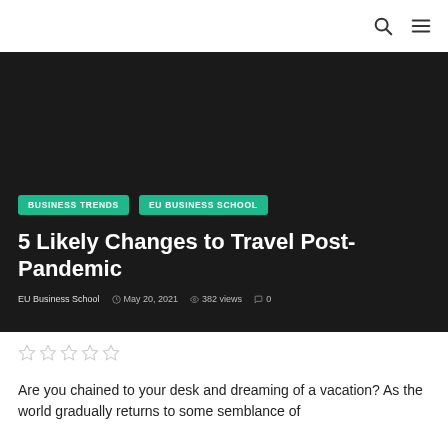BUSINESS TRENDS   EU BUSINESS SCHOOL
5 Likely Changes to Travel Post-Pandemic
EU Business School   May 20, 2021   382 views   0
[Figure (other): Five empty star rating icons]
Are you chained to your desk and dreaming of a vacation? As the world gradually returns to some semblance of